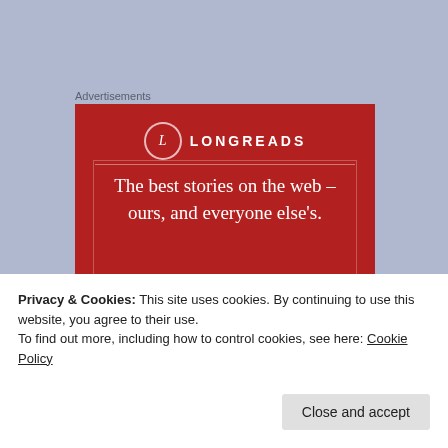Advertisements
[Figure (illustration): Longreads advertisement banner on red background. Shows the Longreads logo (circle with letter L) and brand name, with tagline: 'The best stories on the web – ours, and everyone else's.']
Get l...
Privacy & Cookies: This site uses cookies. By continuing to use this website, you agree to their use.
To find out more, including how to control cookies, see here: Cookie Policy
Close and accept
Painfully aware,